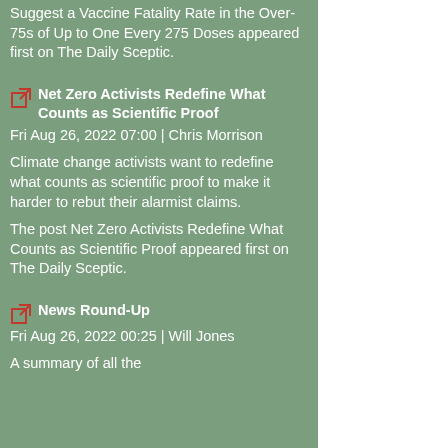Suggest a Vaccine Fatality Rate in the Over-75s of Up to One Every 275 Doses appeared first on The Daily Sceptic.
Net Zero Activists Redefine What Counts as Scientific Proof Fri Aug 26, 2022 07:00 | Chris Morrison Climate change activists want to redefine what counts as scientific proof to make it harder to rebut their alarmist claims. The post Net Zero Activists Redefine What Counts as Scientific Proof appeared first on The Daily Sceptic.
News Round-Up Fri Aug 26, 2022 00:25 | Will Jones A summary of all the